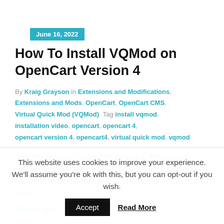June 16, 2022
How To Install VQMod on OpenCart Version 4
By Kraig Grayson in Extensions and Modifications, Extensions and Mods, OpenCart, OpenCart CMS, Virtual Quick Mod (VQMod) Tag install vqmod, installation video, opencart, opencart 4, opencart version 4, opencart4, virtual quick mod, vqmod
With the release of OpenCart version 4, the good old OCMod function that we have all gotten accustomed to has been removed. An Events System is what OpenCart 4 uses…
This website uses cookies to improve your experience. We'll assume you're ok with this, but you can opt-out if you wish.
Accept  Read More